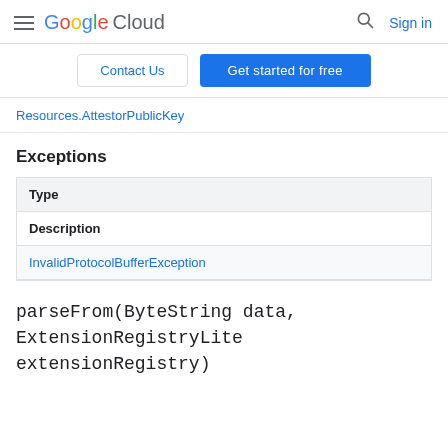Google Cloud | Sign in
Contact Us | Get started for free
Resources.AttestorPublicKey
Exceptions
| Type |
| --- |
| Description |
| InvalidProtocolBufferException |
parseFrom(ByteString data, ExtensionRegistryLite extensionRegistry)